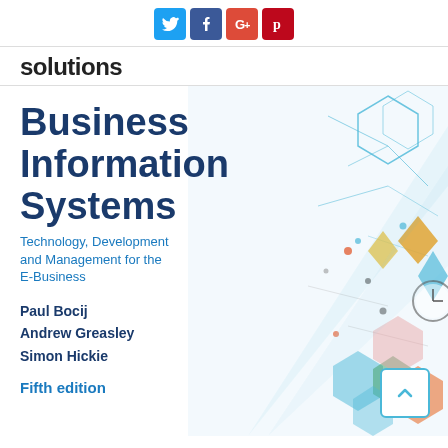Social share buttons: Twitter, Facebook, Google+, Pinterest
solutions
[Figure (illustration): Book cover for 'Business Information Systems: Technology, Development and Management for the E-Business' by Paul Bocij, Andrew Greasley, Simon Hickie. Fifth edition. Abstract network/technology graphic on the right side with colorful geometric shapes and connected nodes.]